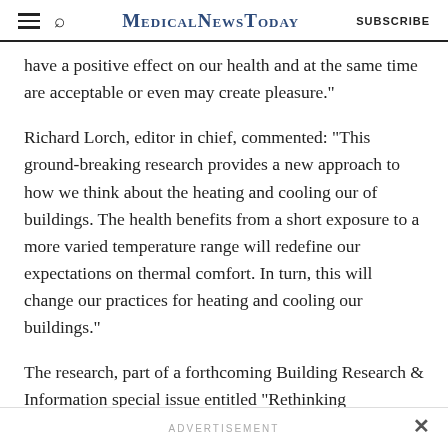MedicalNewsToday | SUBSCRIBE
have a positive effect on our health and at the same time are acceptable or even may create pleasure."
Richard Lorch, editor in chief, commented: "This ground-breaking research provides a new approach to how we think about the heating and cooling our of buildings. The health benefits from a short exposure to a more varied temperature range will redefine our expectations on thermal comfort. In turn, this will change our practices for heating and cooling our buildings."
The research, part of a forthcoming Building Research & Information special issue entitled "Rethinking
ADVERTISEMENT